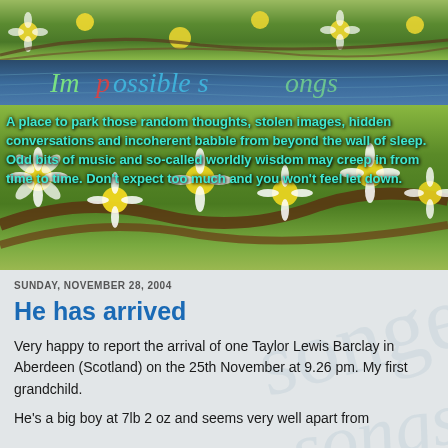[Figure (photo): Header banner with daisy flowers on green background]
Impossible Songs
[Figure (photo): Daisy flowers with blog tagline text overlaid]
A place to park those random thoughts, stolen images, hidden conversations and incoherent babble from beyond the wall of sleep. Odd bits of music and so-called worldly wisdom may creep in from time to time. Don't expect too much and you won't feel let down.
SUNDAY, NOVEMBER 28, 2004
He has arrived
Very happy to report the arrival of one Taylor Lewis Barclay in Aberdeen (Scotland) on the 25th November at 9.26 pm. My first grandchild.
He's a big boy at 7lb 2 oz and seems very well apart from